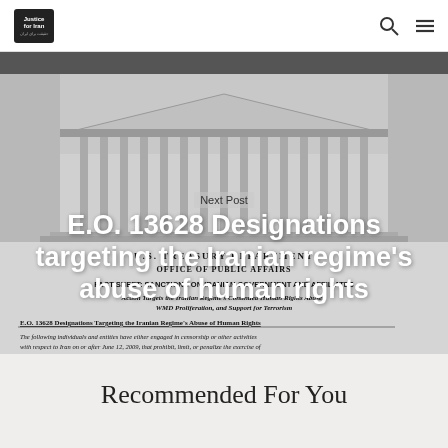Justice for Iran [logo] | [search icon] [menu icon]
[Figure (screenshot): Screenshot of a US Treasury Department Office of Public Affairs Fact Sheet about sanctions on Iranian government and affiliates, targeting the Iranian regime's continued human rights abuses, WMD proliferation, and support for terrorism. Shows building illustration and document text.]
Next Post
E.O. 13628 Designations targeting the Iranian regime's abuse of human rights
Recommended For You